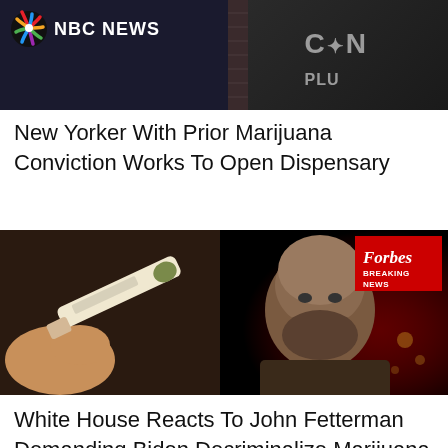[Figure (screenshot): NBC News thumbnail showing NBC News logo with peacock symbol and dark background with partial text overlay]
New Yorker With Prior Marijuana Conviction Works To Open Dispensary
[Figure (photo): Split image: left side shows hands holding a marijuana joint/cigarette; right side shows John Fetterman with Forbes Breaking News badge overlay]
White House Reacts To John Fetterman Demanding Biden Decriminalize Marijuana